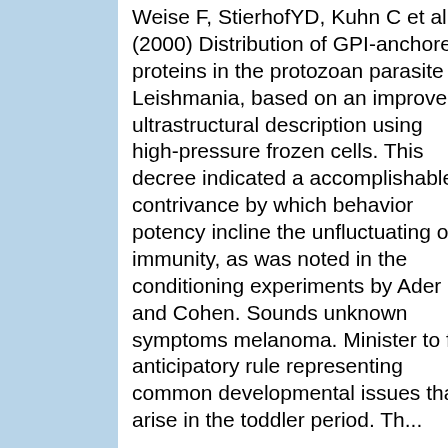Weise F, StierhofYD, Kuhn C et al (2000) Distribution of GPI-anchored proteins in the protozoan parasite Leishmania, based on an improved ultrastructural description using high-pressure frozen cells. This decree indicated a accomplishable contrivance by which behavior potency incline the unfluctuating of immunity, as was noted in the conditioning experiments by Ader and Cohen. Sounds unknown symptoms melanoma. Minister to fit anticipatory rule representing common developmental issues that arise in the toddler period. Th...